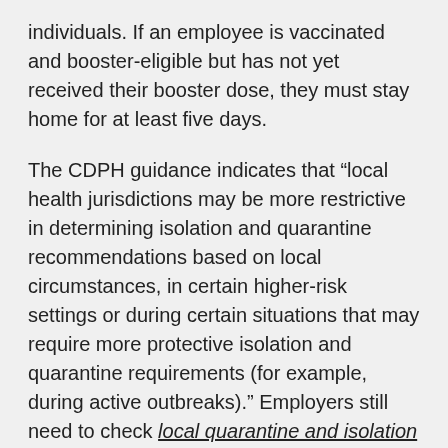individuals. If an employee is vaccinated and booster-eligible but has not yet received their booster dose, they must stay home for at least five days.
The CDPH guidance indicates that “local health jurisdictions may be more restrictive in determining isolation and quarantine recommendations based on local circumstances, in certain higher-risk settings or during certain situations that may require more protective isolation and quarantine requirements (for example, during active outbreaks).” Employers still need to check local quarantine and isolation periods as they may be more restrictive.